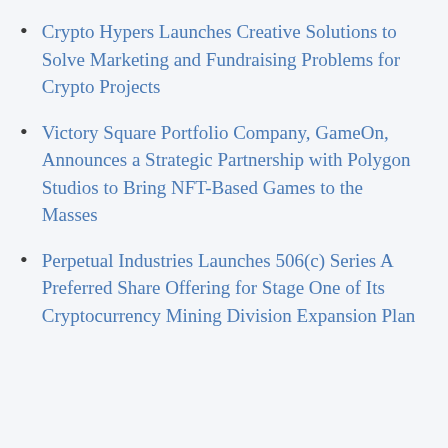Crypto Hypers Launches Creative Solutions to Solve Marketing and Fundraising Problems for Crypto Projects
Victory Square Portfolio Company, GameOn, Announces a Strategic Partnership with Polygon Studios to Bring NFT-Based Games to the Masses
Perpetual Industries Launches 506(c) Series A Preferred Share Offering for Stage One of Its Cryptocurrency Mining Division Expansion Plan